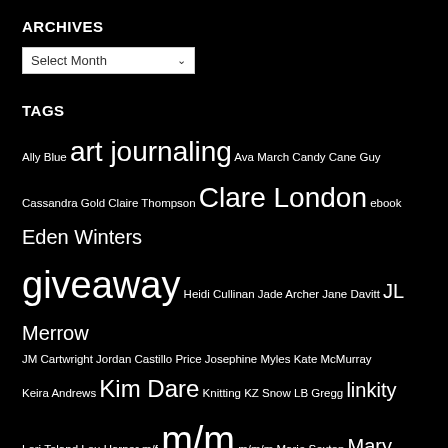ARCHIVES
[Figure (other): Dropdown select element with 'Select Month' label]
TAGS
Ally Blue art journaling Ava March Candy Cane Guy Cassandra Gold Claire Thompson Clare London ebook Eden Winters giveaway Heidi Cullinan Jade Archer Jane Davitt JL Merrow JM Cartwright Jordan Castillo Price Josephine Myles Kate McMurray Keira Andrews Kim Dare Knitting KZ Snow LB Gregg linkity Lori Toland Lou Harper m/f m/m m/m/m Marie Sexton Mary Calmes Mia Watts Mickie B. Ashling misadventures MJ O'Shea PD Singer Piper Vaughn reviewettes Seanan McGuire Shawn Lane stock photos TC Blue Valentina Heart Vic Winter ZA Maxfield